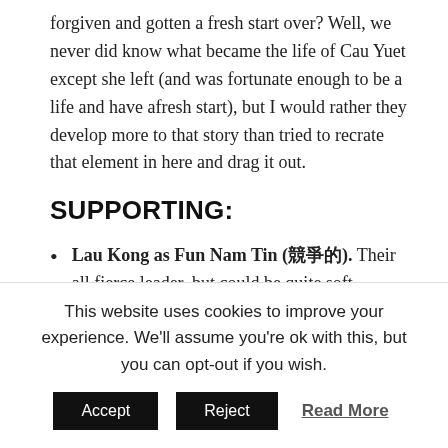forgiven and gotten a fresh start over? Well, we never did know what became the life of Cau Yuet except she left (and was fortunate enough to be a life and have afresh start), but I would rather they develop more to that story than tried to recrate that element in here and drag it out.
SUPPORTING:
Lau Kong as Fun Nam Tin (競爭的). Their all fierce leader, but could be quite soft-hearted at times too-when it came to their little group. However, it
This website uses cookies to improve your experience. We'll assume you're ok with this, but you can opt-out if you wish.
Accept  Reject  Read More